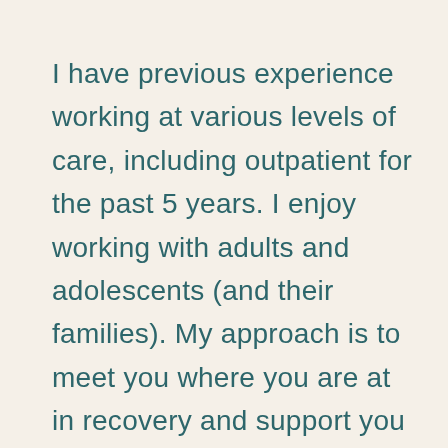I have previous experience working at various levels of care, including outpatient for the past 5 years. I enjoy working with adults and adolescents (and their families). My approach is to meet you where you are at in recovery and support you as you take practical steps towards your goals and food freedom. I promise to be with you each step of the way in your recovery journey! I joined